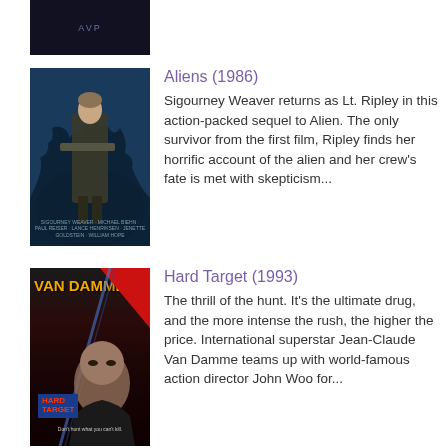[Figure (photo): Partially visible movie poster at top of page, mostly cropped out, dark background with sci-fi logo]
[Figure (photo): Aliens (1986) movie poster showing Sigourney Weaver as Lt. Ripley in a blue sci-fi setting with alien creatures]
Aliens (1986)
Sigourney Weaver returns as Lt. Ripley in this action-packed sequel to Alien. The only survivor from the first film, Ripley finds her horrific account of the alien and her crew's fate is met with skepticism...
[Figure (photo): Hard Target (1993) movie poster showing Van Damme against a dark red background with 'VAN DAMME' in orange text and Hard Target logo]
Hard Target (1993)
The thrill of the hunt. It's the ultimate drug, and the more intense the rush, the higher the price. International superstar Jean-Claude Van Damme teams up with world-famous action director John Woo for...